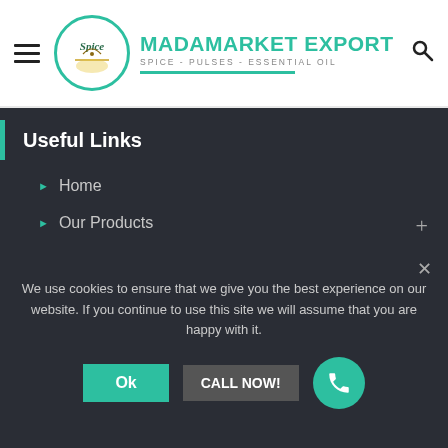[Figure (logo): Madamarket Export logo with teal circle containing 'Spice' text and spice illustration, followed by brand name 'MADAMARKET EXPORT' in teal and tagline 'SPICE - PULSES - ESSENTIAL OIL']
Useful Links
Home
Our Products
Contact
Quotation
Blog
[Figure (logo): Partial circular logo with green and yellow border showing text 'LE CONC' visible at bottom of dark section]
We use cookies to ensure that we give you the best experience on our website. If you continue to use this site we will assume that you are happy with it.